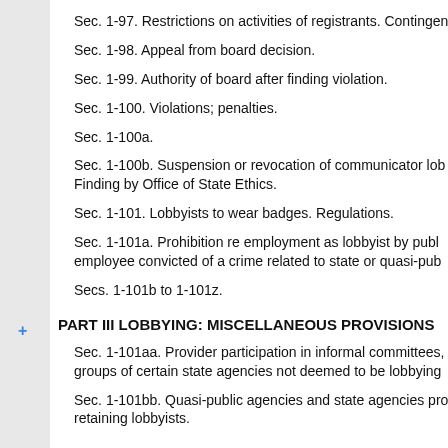Sec. 1-97. Restrictions on activities of registrants. Contingen
Sec. 1-98. Appeal from board decision.
Sec. 1-99. Authority of board after finding violation.
Sec. 1-100. Violations; penalties.
Sec. 1-100a.
Sec. 1-100b. Suspension or revocation of communicator lob
Finding by Office of State Ethics.
Sec. 1-101. Lobbyists to wear badges. Regulations.
Sec. 1-101a. Prohibition re employment as lobbyist by publ
employee convicted of a crime related to state or quasi-pub
Secs. 1-101b to 1-101z.
PART III LOBBYING: MISCELLANEOUS PROVISIONS
Sec. 1-101aa. Provider participation in informal committees,
groups of certain state agencies not deemed to be lobbying
Sec. 1-101bb. Quasi-public agencies and state agencies pro
retaining lobbyists.